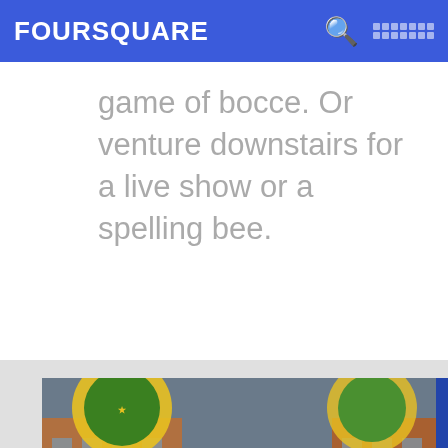FOURSQUARE
game of bocce. Or venture downstairs for a live show or a spelling bee.
[Figure (photo): Exterior photo of Pacific Standard bar at 82 4th Ave, showing storefront windows with decorative signs including a Pub Quiz poster and the number 82, reflecting brick buildings across the street.]
14. Pacific Standard
82 4th Ave (btwn St. Marks Pl & Bergen St), Brooklyn, NY
Bar · Boerum Hill · 107 tips and reviews
The Common Groom: Get $2 Pints